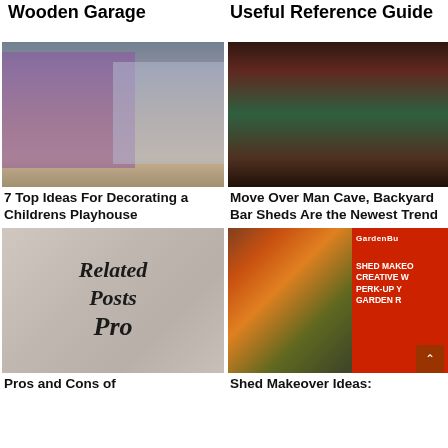Wooden Garage
Useful Reference Guide
[Figure (photo): Colorful children's playhouse and a blue shed exterior]
7 Top Ideas For Decorating a Childrens Playhouse
[Figure (photo): People toasting with beer mugs at a bar]
Move Over Man Cave, Backyard Bar Sheds Are the Newest Trend
[Figure (illustration): Related Posts Pro plugin graphic with script text]
Pros and Cons of ...
[Figure (photo): Shed makeover - garden shed with red GardenBu promotional overlay]
Shed Makeover Ideas: